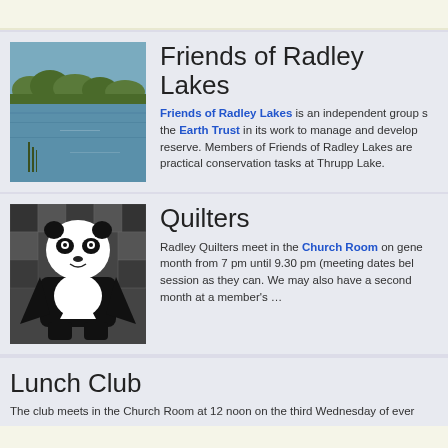[Figure (photo): Partial top bar with logo/image visible at top]
Friends of Radley Lakes
Friends of Radley Lakes is an independent group supporting the Earth Trust in its work to manage and develop the nature reserve. Members of Friends of Radley Lakes are involved in practical conservation tasks at Thrupp Lake.
[Figure (photo): Black and white quilt featuring a panda design]
Quilters
Radley Quilters meet in the Church Room on generally one month from 7 pm until 9.30 pm (meeting dates below) and members attend as many session as they can. We may also have a second meeting each month at a member's ...
Lunch Club
The club meets in the Church Room at 12 noon on the third Wednesday of ever...